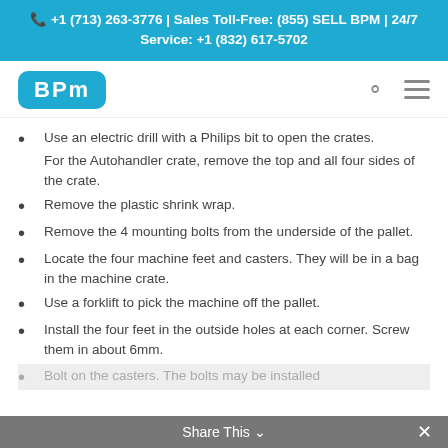📞 +1 (713) 263-3776 | Sales Toll-Free: (855) SELL BPM | 24/7 Service: +1 (832) 617-5702
[Figure (logo): BPM logo in blue rounded rectangle with search and menu icons]
Use an electric drill with a Philips bit to open the crates.
For the Autohandler crate, remove the top and all four sides of the crate.
Remove the plastic shrink wrap.
Remove the 4 mounting bolts from the underside of the pallet.
Locate the four machine feet and casters. They will be in a bag in the machine crate.
Use a forklift to pick the machine off the pallet.
Install the four feet in the outside holes at each corner. Screw them in about 6mm.
Bolt on the casters. The bolts may be installed